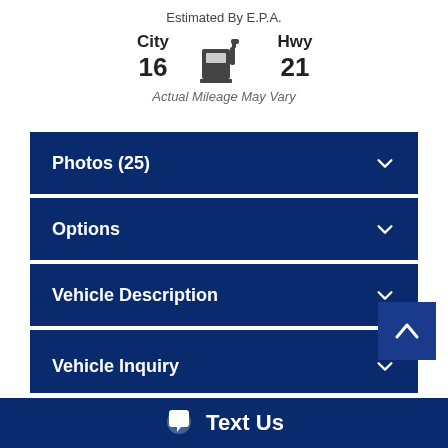Estimated By E.P.A.
City 16   Hwy 21
Actual Mileage May Vary
Photos (25)
Options
Vehicle Description
CarStory®
Vehicle Inquiry
Text Us